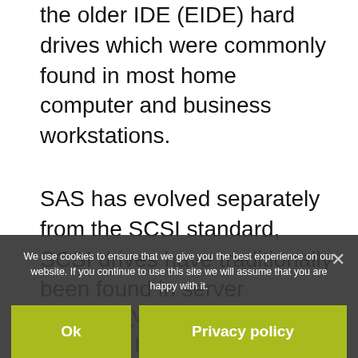the older IDE (EIDE) hard drives which were commonly found in most home computer and business workstations.
SAS has evolved separately from the SCSI standard, SCSI drives have traditionally been found in server solutions.
Many server manufacturers including HP, Dell offer ... with SATA drives. With the mid-range and higher end servers remaining with SAS hard drives.
We use cookies to ensure that we give you the best experience on our website. If you continue to use this site we will assume that you are happy with it.